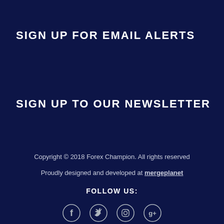SIGN UP FOR EMAIL ALERTS
SIGN UP TO OUR NEWSLETTER
Copyright © 2018 Forex Champion. All rights reserved
Proudly designed and developed at mergeplanet
FOLLOW US:
[Figure (illustration): Social media icons: Facebook, Twitter, Instagram, Google+]